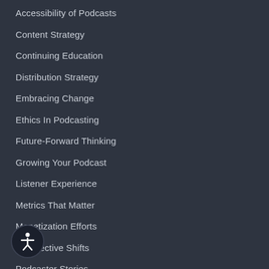Accessibility of Podcasts
Content Strategy
Continuing Education
Distribution Strategy
Embracing Change
Ethics In Podcasting
Future-Forward Thinking
Growing Your Podcast
Listener Experience
Metrics That Matter
Monetization Efforts
Perspective Shifts
Podcaster Stories
Quality Matters
[Figure (illustration): Accessibility icon — circular button with a human figure silhouette in white on dark background]